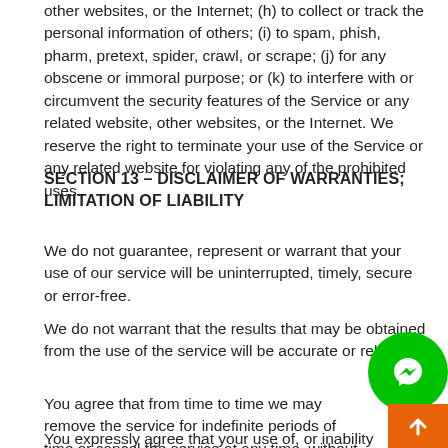other websites, or the Internet; (h) to collect or track the personal information of others; (i) to spam, phish, pharm, pretext, spider, crawl, or scrape; (j) for any obscene or immoral purpose; or (k) to interfere with or circumvent the security features of the Service or any related website, other websites, or the Internet. We reserve the right to terminate your use of the Service or any related website for violating any of the prohibited uses.
SECTION 13 – DISCLAIMER OF WARRANTIES; LIMITATION OF LIABILITY
We do not guarantee, represent or warrant that your use of our service will be uninterrupted, timely, secure or error-free.
We do not warrant that the results that may be obtained from the use of the service will be accurate or reliable.
You agree that from time to time we may remove the service for indefinite periods of time or cancel the service at any time, without notice to you.
You expressly agree that your use of, or inability